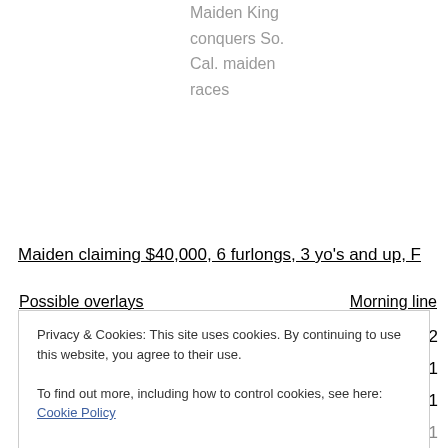Maiden King conquers So. Cal. maiden races
Maiden claiming $40,000, 6 furlongs, 3 yo's and up, F
| Possible overlays | Morning line |
| --- | --- |
| #1 Lady Alex | 7/2 |
| #2 Angel of Mystery | 6/1 |
| #4 Brilliant Response | 3/1 |
| #7 Kaylie's Joy | 5/1 |
Privacy & Cookies: This site uses cookies. By continuing to use this website, you agree to their use.
To find out more, including how to control cookies, see here: Cookie Policy